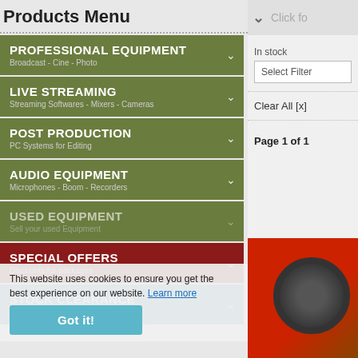Products Menu
PROFESSIONAL EQUIPMENT - Broadcast - Cine - Photo
LIVE STREAMING - Streaming Softwares - Mixers - Cameras
POST PRODUCTION - PC Systems for Editing
AUDIO EQUIPMENT - Microphones - Boom - Recorders
USED EQUIPMENT - Sell your used Equipment
SPECIAL OFFERS - Discounts for packages
STOCK CLEARANCE - -50% OFF
This website uses cookies to ensure you get the best experience on our website. Learn more
Got it!
Click for
In stock
Select Filter
Clear All [x]
Page 1 of 1
[Figure (photo): Red/orange professional camera or underwater housing equipment with a circular lens, shown in bottom right]